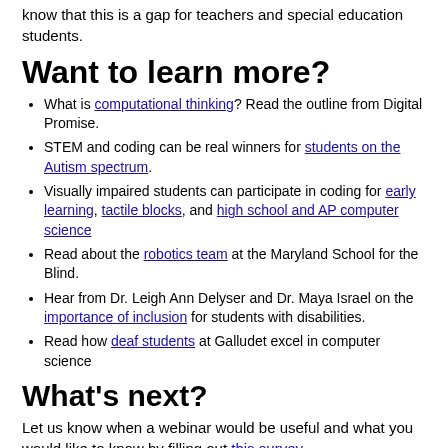know that this is a gap for teachers and special education students.
Want to learn more?
What is computational thinking? Read the outline from Digital Promise.
STEM and coding can be real winners for students on the Autism spectrum.
Visually impaired students can participate in coding for early learning, tactile blocks, and high school and AP computer science
Read about the robotics team at the Maryland School for the Blind.
Hear from Dr. Leigh Ann Delyser and Dr. Maya Israel on the importance of inclusion for students with disabilities.
Read how deaf students at Galludet excel in computer science
What's next?
Let us know when a webinar would be useful and what you would like to know by filling out this survey.